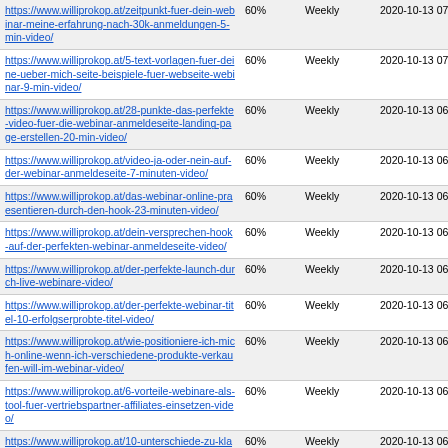| https://www.williprokop.at/zeitpunkt-fuer-dein-webinar-meine-erfahrung-nach-30k-anmeldungen-5-min-video/ | 60% | Weekly | 2020-10-13 07:19 |
| https://www.williprokop.at/5-text-vorlagen-fuer-deine-ueber-mich-seite-beispiele-fuer-webseite-webinar-9-min-video/ | 60% | Weekly | 2020-10-13 07:13 |
| https://www.williprokop.at/28-punkte-das-perfekte-video-fuer-die-webinar-anmeldeseite-landing-page-erstellen-20-min-video/ | 60% | Weekly | 2020-10-13 06:59 |
| https://www.williprokop.at/video-ja-oder-nein-auf-der-webinar-anmeldeseite-7-minuten-video/ | 60% | Weekly | 2020-10-13 06:52 |
| https://www.williprokop.at/das-webinar-online-praesentieren-durch-den-hook-23-minuten-video/ | 60% | Weekly | 2020-10-13 06:33 |
| https://www.williprokop.at/dein-versprechen-hook-auf-der-perfekten-webinar-anmeldeseite-video/ | 60% | Weekly | 2020-10-13 06:34 |
| https://www.williprokop.at/der-perfekte-launch-durch-live-webinare-video/ | 60% | Weekly | 2020-10-13 06:34 |
| https://www.williprokop.at/der-perfekte-webinar-titel-10-erfolgserprobte-titel-video/ | 60% | Weekly | 2020-10-13 06:35 |
| https://www.williprokop.at/wie-positioniere-ich-mich-online-wenn-ich-verschiedene-produkte-verkaufen-will-im-webinar-video/ | 60% | Weekly | 2020-10-13 06:35 |
| https://www.williprokop.at/6-vorteile-webinare-als-tool-fuer-vertriebspartner-affiliates-einsetzen-video/ | 60% | Weekly | 2020-10-13 06:35 |
| https://www.williprokop.at/10-unterschiede-zu-klassischen-verkaufs-webinaren-video/ | 60% | Weekly | 2020-10-13 06:36 |
| https://www.williprokop.at/speedinar-youtube/ | 60% | Weekly | 2021-03-24 06:18 |
| https://www.williprokop.at/ist-webinar-ein-… | 60% | Weekly | 2020-10-11 |